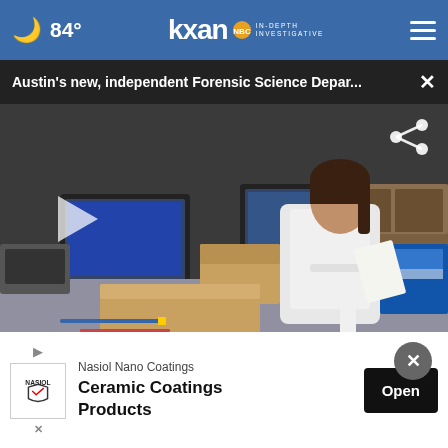🌙 84° | kxan IN-DEPTH INVESTIGATIVE
Austin's new, independent Forensic Science Depar...
[Figure (screenshot): Video screenshot of a forensic scientist in a white lab coat working at a desk in a laboratory, handling papers and boxes of lab supplies including tape, gloves, and test tubes. A computer monitor and other lab equipment is visible in the background. A play button overlay is visible on the left side of the video frame.]
More Videos ›
[Figure (photo): Nasiol Nano Coatings advertisement banner with logo, promoting Ceramic Coatings Products with an Open button]
Nasiol Nano Coatings
Ceramic Coatings Products